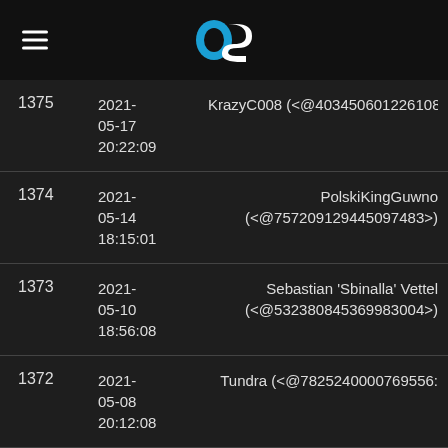OS logo with hamburger menu
| ID | Date | User |
| --- | --- | --- |
| 1375 | 2021-05-17 20:22:09 | KrazyC008 (<@403450601226108 |
| 1374 | 2021-05-14 18:15:01 | PolskiKingGuwno (<@757209129445097483>) |
| 1373 | 2021-05-10 18:56:08 | Sebastian 'Sbinalla' Vettel (<@532380845369983004>) |
| 1372 | 2021-05-08 20:12:08 | Tundra (<@7825240000769556: |
| 1371 | 2021- | Elf melk (<@3752059855450931 |